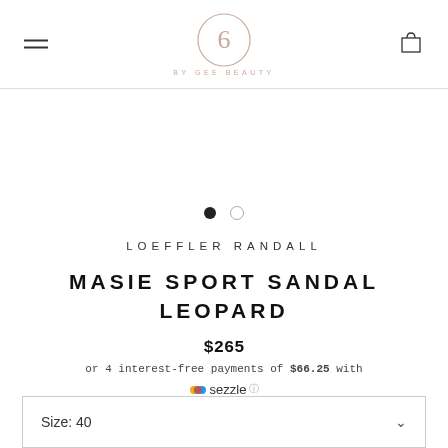6 BY GEE BEAUTY
[Figure (other): Two carousel dots indicating image slideshow position]
LOEFFLER RANDALL
MASIE SPORT SANDAL LEOPARD
$265
or 4 interest-free payments of $66.25 with Sezzle
| Size |
| --- |
| 40 |